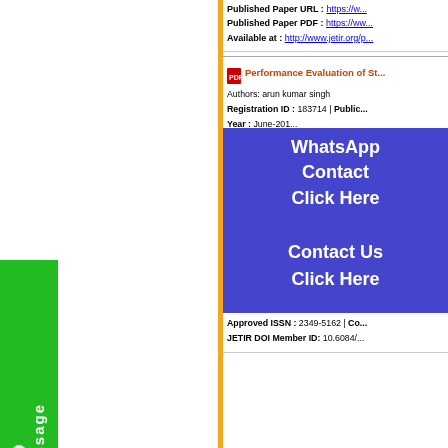Published Paper URL : https://w...
Published Paper PDF : https://ww...
Available at : http://www.jetir.org/p...
[Figure (screenshot): Green vertical Message button on left side of page]
Performance Evaluation of St...
Authors: arun kumar singh
Registration ID : 183714 | Public...
Year : June-201...
Approved ISSN...
JETIR DOI Mem...
No of times Downloads: 002829...
Published Paper URL : https://...
Published Paper PDF : ...
Available at : ht...
[Figure (screenshot): WhatsApp Contact Click Here blue overlay banner]
[Figure (screenshot): Contact Us Click Here blue overlay banner]
An Effective Loosely Coupled...
Heterogeneous Mobile Ad-hoc N...
Authors: Pradeep Rusiya, Prashant P...
Registration ID : 183676 | Public...
Year : June-2018 | Volume: 5 | Iss...
Approved ISSN : 2349-5162 | Co...
JETIR DOI Member ID: 10.6084/...